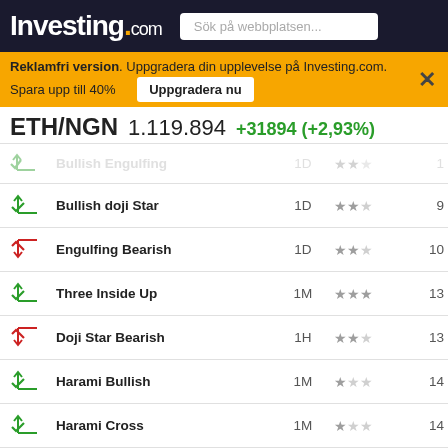Investing.com — Sök på webbplatsen...
Reklamfri version. Uppgradera din upplevelse på Investing.com. Spara upp till 40% — Uppgradera nu
ETH/NGN 1.119.894 +31894 (+2,93%)
| Icon | Pattern | Timeframe | Reliability | Candle |
| --- | --- | --- | --- | --- |
| bullish | Bullish doji Star | 1D | ★★☆ | 9 |
| bearish | Engulfing Bearish | 1D | ★★☆ | 10 |
| bullish | Three Inside Up | 1M | ★★★ | 13 |
| bearish | Doji Star Bearish | 1H | ★★☆ | 13 |
| bullish | Harami Bullish | 1M | ★☆☆ | 14 |
| bullish | Harami Cross | 1M | ★☆☆ | 14 |
| bullish | Harami Bullish | 1W | ★☆☆ | 14 |
| bullish | Harami Cross | 1W | ★☆☆ | 14 |
| bullish | Three Outside Up | 1D | ★★★ | 14 |
| bullish | Bullish Engulfing | 1D | ★★☆ | 15 |
| bearish | Three Inside Down | 1H | ★★★ | 15 |
| bullish | Harami Bullish | 30 | ★☆☆ | 15 |
| bearish | Hanging Man | 1H | ★☆☆ | 16 |
| bullish | Bullish Engulfing | 1H | ★★☆ | 17 |